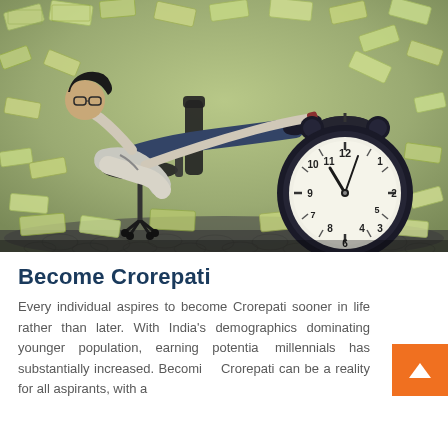[Figure (photo): A person reclining in an office chair with feet propped on a large alarm clock, surrounded by money bills raining down. The background is a muted olive-green. Bills are scattered everywhere on the floor and in the air.]
Become Crorepati
Every individual aspires to become Crorepati sooner in life rather than later. With India's demographics dominating younger population, earning potential millennials has substantially increased. Becoming Crorepati can be a reality for all aspirants, with a